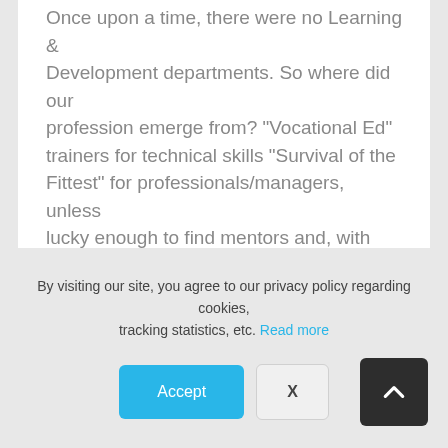Once upon a time, there were no Learning & Development departments. So where did our profession emerge from? "Vocational Ed" trainers for technical skills "Survival of the Fittest" for professionals/managers, unless lucky enough to find mentors and, with few exceptions,...
Read More →
By visiting our site, you agree to our privacy policy regarding cookies, tracking statistics, etc. Read more
Accept
X